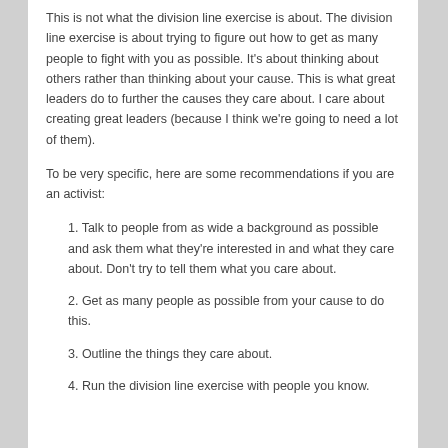This is not what the division line exercise is about. The division line exercise is about trying to figure out how to get as many people to fight with you as possible. It's about thinking about others rather than thinking about your cause. This is what great leaders do to further the causes they care about. I care about creating great leaders (because I think we're going to need a lot of them).
To be very specific, here are some recommendations if you are an activist:
1. Talk to people from as wide a background as possible and ask them what they're interested in and what they care about. Don't try to tell them what you care about.
2. Get as many people as possible from your cause to do this.
3. Outline the things they care about.
4. Run the division line exercise with people you know.